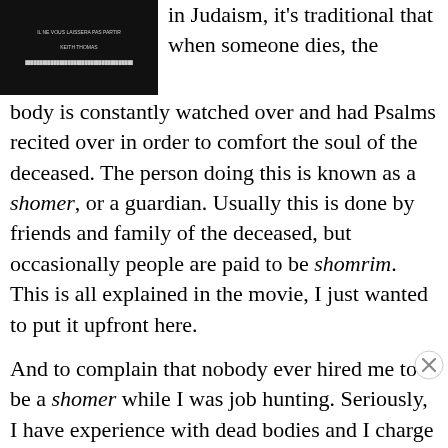[Figure (photo): Movie poster with dark background and French text including 'IL NE VOUS LAISSERA PAS PARTIR' and 'KEITH THOMAS']
in Judaism, it's traditional that when someone dies, the body is constantly watched over and had Psalms recited over in order to comfort the soul of the deceased. The person doing this is known as a shomer, or a guardian. Usually this is done by friends and family of the deceased, but occasionally people are paid to be shomrim. This is all explained in the movie, I just wanted to put it upfront here.
And to complain that nobody ever hired me to be a shomer while I was job hunting. Seriously, I have experience with dead bodies and I charge reasonable rates. I would have been great at it!
Advertisements
[Figure (screenshot): Advertisement banner for F2 with dark background and text 'Fewer meetings, more work.']